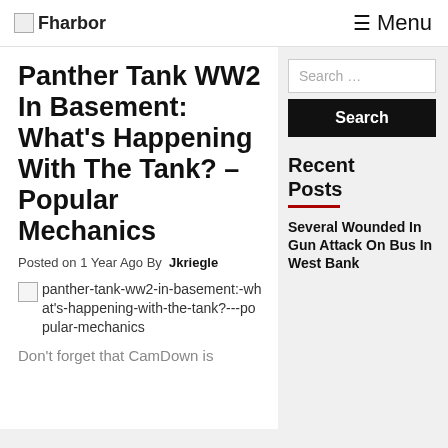Fharbor | Menu
Panther Tank WW2 In Basement: What's Happening With The Tank? – Popular Mechanics
Posted on 1 Year Ago By Jkriegle
panther-tank-ww2-in-basement:-what's-happening-with-the-tank?---popular-mechanics
Don't forget that CamDown is
Recent Posts
Several Wounded In Gun Attack On Bus In West Bank